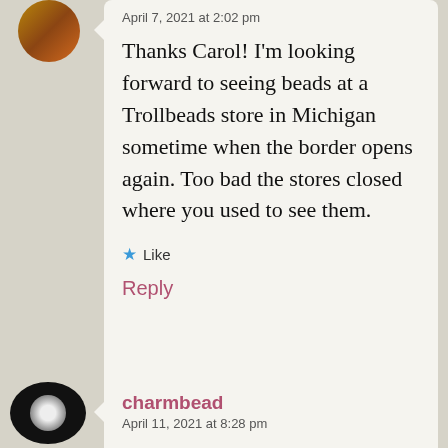April 7, 2021 at 2:02 pm
Thanks Carol! I'm looking forward to seeing beads at a Trollbeads store in Michigan sometime when the border opens again. Too bad the stores closed where you used to see them.
★ Like
Reply
charmbead
April 11, 2021 at 8:28 pm
Your two permanent bracelets are fantastic!